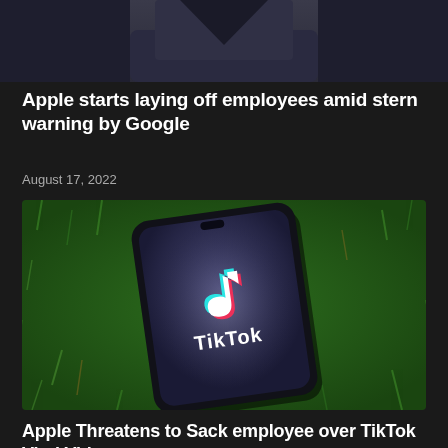[Figure (photo): Partial photo of a person wearing a dark shirt, showing chin/neck area only, cropped at top of page]
Apple starts laying off employees amid stern warning by Google
August 17, 2022
[Figure (photo): Phone displaying TikTok logo lying on green grass]
Apple Threatens to Sack employee over TikTok Viral Video